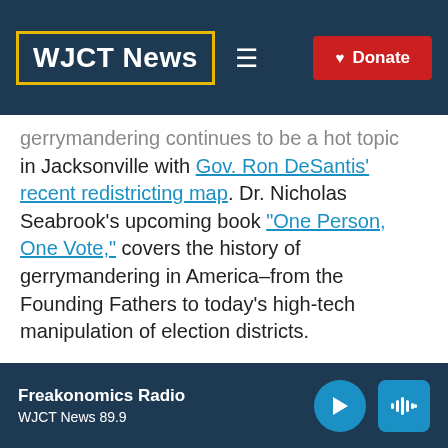WJCT News — Donate
gerrymandering continues to be a hot topic in Jacksonville with Gov. Ron DeSantis' recent redistricting map. Dr. Nicholas Seabrook's upcoming book "One Person, One Vote," covers the history of gerrymandering in America–from the Founding Fathers to today's high-tech manipulation of election districts.
Guest: Dr. Nicholas Seabrook, professor and interim chair, political science and
Freakonomics Radio — WJCT News 89.9